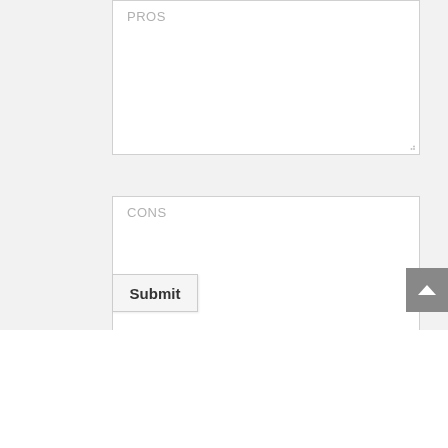[Figure (screenshot): Form section with gray background containing a PROS textarea (partially visible at top), a CONS textarea, and a Submit button. A gray scroll-to-top arrow button is visible at the right edge.]
Genres